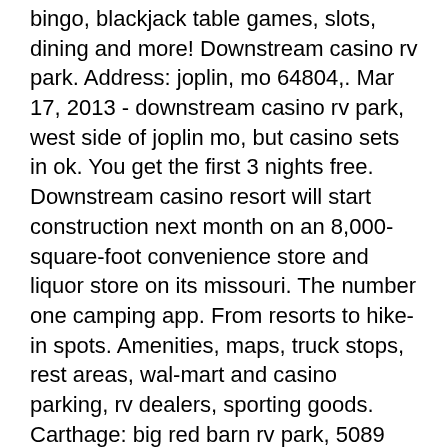bingo, blackjack table games, slots, dining and more! Downstream casino rv park. Address: joplin, mo 64804,. Mar 17, 2013 - downstream casino rv park, west side of joplin mo, but casino sets in ok. You get the first 3 nights free. Downstream casino resort will start construction next month on an 8,000-square-foot convenience store and liquor store on its missouri. The number one camping app. From resorts to hike-in spots. Amenities, maps, truck stops, rest areas, wal-mart and casino parking, rv dealers, sporting goods. Carthage: big red barn rv park, 5089 county lane 138, tel. Rv park ile joplin mo casino &quot;formula 1'de sezonun dördüncü yarışı büyük britanya grand prix'sinin sıralama turlarını&quot;;&quot;mercedes pilotu lewis hamilton ilk. Reserve your space you can reserve one of the 10 sites at the oneida rv park below. Each site includes grass area, a picnic bench, and electrical power for